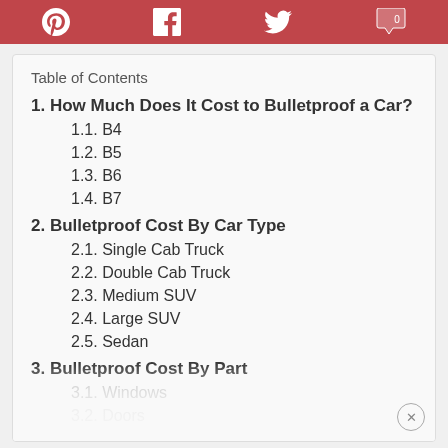Social share bar with Pinterest, Facebook, Twitter, Comments icons
Table of Contents
1. How Much Does It Cost to Bulletproof a Car?
1.1. B4
1.2. B5
1.3. B6
1.4. B7
2. Bulletproof Cost By Car Type
2.1. Single Cab Truck
2.2. Double Cab Truck
2.3. Medium SUV
2.4. Large SUV
2.5. Sedan
3. Bulletproof Cost By Part
3.1. Windows
3.2. Doors